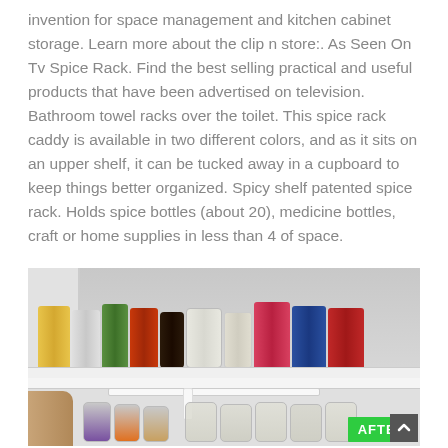invention for space management and kitchen cabinet storage. Learn more about the clip n store:. As Seen On Tv Spice Rack. Find the best selling practical and useful products that have been advertised on television. Bathroom towel racks over the toilet. This spice rack caddy is available in two different colors, and as it sits on an upper shelf, it can be tucked away in a cupboard to keep things better organized. Spicy shelf patented spice rack. Holds spice bottles (about 20), medicine bottles, craft or home supplies in less than 4 of space.
[Figure (photo): Photo of a kitchen cabinet shelf organizer. The top shelf shows multiple cans and jars including Butter Beans, coconut milk, Denny's, cranberry sauce, Wampu, Ocean Spray cranberry products, and others. The bottom shelf shows spice jars and small containers on a rack organizer. A hand is visible reaching for a jar on the left. An 'AFTER' badge in green is shown in the bottom right corner.]